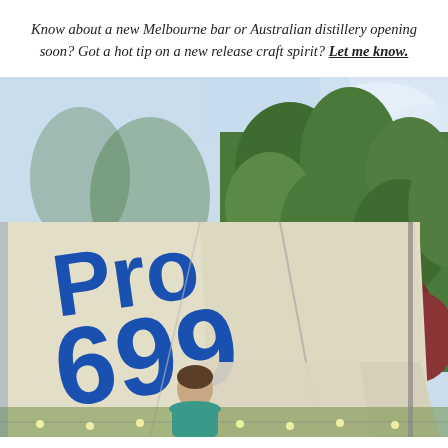Know about a new Melbourne bar or Australian distillery opening soon? Got a hot tip on a new release craft spirit? Let me know.
[Figure (photo): Outdoor photo showing a white sailboat sail with blue letters 'Pro' and numbers '699' prominently displayed. A person in a teal shirt is partially visible in the lower portion. Green trees and a light blue sky are visible in the background, along with some string lights near the bottom.]